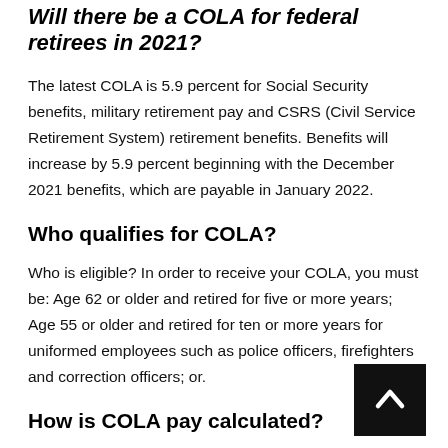Will there be a COLA for federal retirees in 2021?
The latest COLA is 5.9 percent for Social Security benefits, military retirement pay and CSRS (Civil Service Retirement System) retirement benefits. Benefits will increase by 5.9 percent beginning with the December 2021 benefits, which are payable in January 2022.
Who qualifies for COLA?
Who is eligible? In order to receive your COLA, you must be: Age 62 or older and retired for five or more years; Age 55 or older and retired for ten or more years for uniformed employees such as police officers, firefighters and correction officers; or.
How is COLA pay calculated?